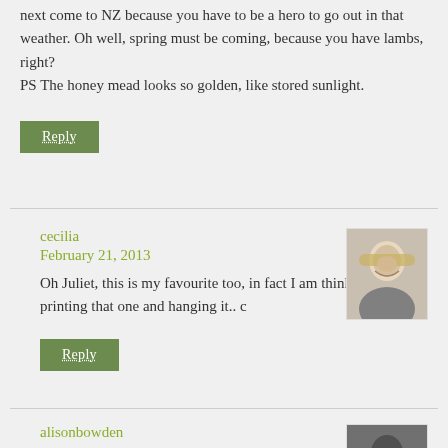next come to NZ because you have to be a hero to go out in that weather. Oh well, spring must be coming, because you have lambs, right?
PS The honey mead looks so golden, like stored sunlight.
Reply
cecilia
February 21, 2013
[Figure (photo): Avatar photo of cecilia, a blonde woman smiling]
Oh Juliet, this is my favourite too, in fact I am thinking of printing that one and hanging it.. c
Reply
alisonbowden
[Figure (photo): Partial avatar photo of alisonbowden]